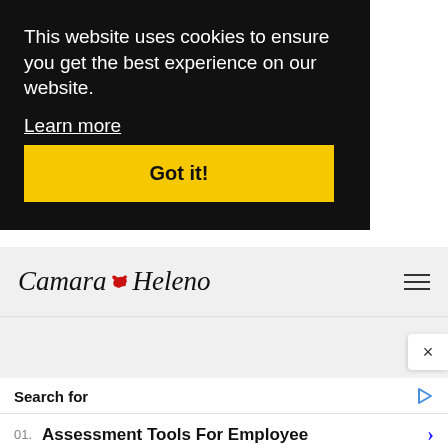This website uses cookies to ensure you get the best experience on our website.
Learn more
Got it!
[Figure (logo): Camara Heleno logo with red ink splat between the two words, italic serif font]
Search for
01. Assessment Tools For Employee
02. Cloud Storage Software System
Yahoo! Search | Sponsored